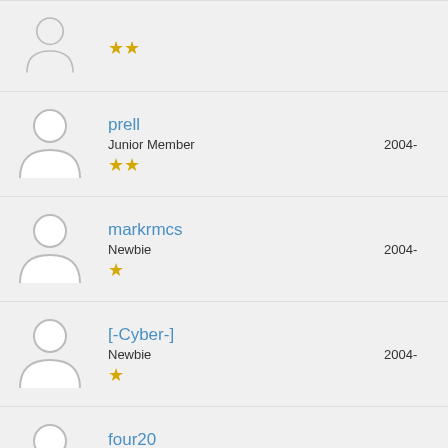prell | Junior Member | ★★ | 2004-
markrmcs | Newbie | ★ | 2004-
[-Cyber-] | Newbie | ★ | 2004-
four20 | Junior Member | ★★ | 2004-
laforge | Junior Member | ★★ | 2004-